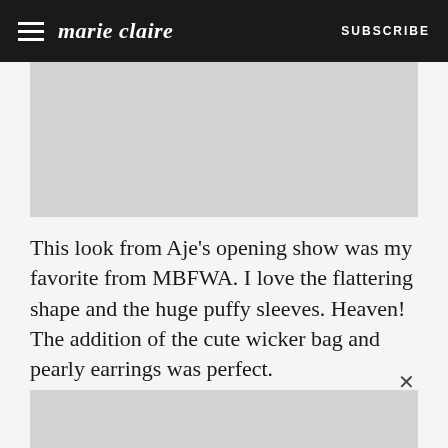marie claire   SUBSCRIBE
[Figure (photo): Top image placeholder, light gray rectangle]
This look from Aje's opening show was my favorite from MBFWA. I love the flattering shape and the huge puffy sleeves. Heaven! The addition of the cute wicker bag and pearly earrings was perfect.
[Figure (photo): Bottom image placeholder, light gray rectangle]